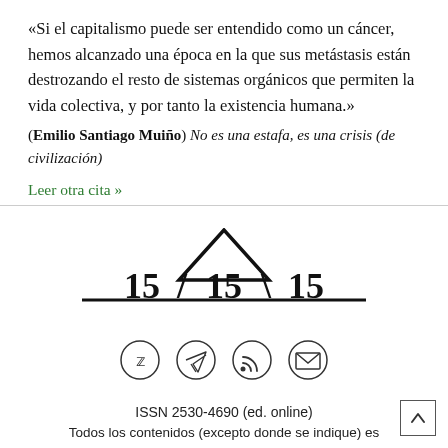«Si el capitalismo puede ser entendido como un cáncer, hemos alcanzado una época en la que sus metástasis están destrozando el resto de sistemas orgánicos que permiten la vida colectiva, y por tanto la existencia humana.» (Emilio Santiago Muiño) No es una estafa, es una crisis (de civilización)
Leer otra cita »
[Figure (logo): 15/15/15 publication logo with triangle above the numbers and a horizontal line beneath]
[Figure (other): Social media icons: Twitter, Telegram, RSS feed, Email — each in a circle]
ISSN 2530-4690 (ed. online)
Todos los contenidos (excepto donde se indique) es
publicados bajo una licencia de cultura libre Creative Com...